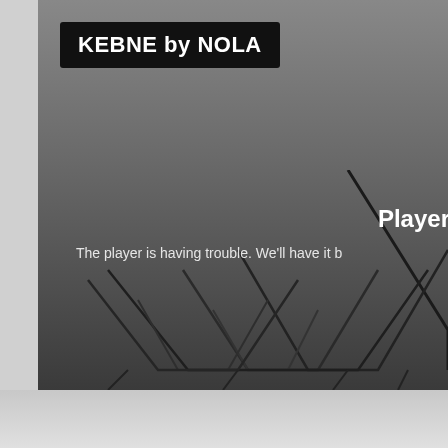[Figure (screenshot): Web page screenshot showing a media player with a dark gradient background featuring abstract mountain/triangle line art shapes. The player displays an error message.]
KEBNE by NOLA
Player
The player is having trouble. We'll have it b